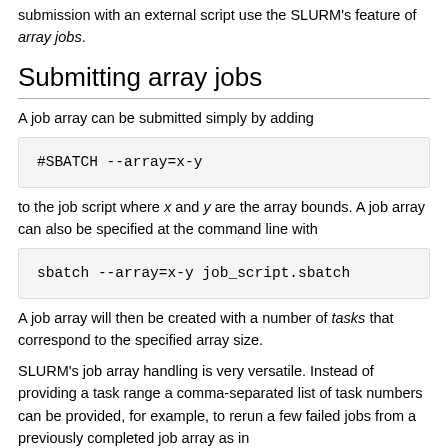submission with an external script use the SLURM's feature of array jobs.
Submitting array jobs
A job array can be submitted simply by adding
to the job script where x and y are the array bounds. A job array can also be specified at the command line with
A job array will then be created with a number of tasks that correspond to the specified array size.
SLURM's job array handling is very versatile. Instead of providing a task range a comma-separated list of task numbers can be provided, for example, to rerun a few failed jobs from a previously completed job array as in